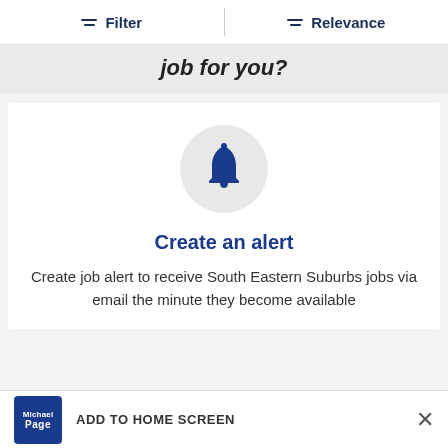Filter   Relevance
job for you?
[Figure (illustration): Bell notification icon inside a light gray circle, with 'Create an alert' heading and descriptive text below it on a white card. A blue 'Feedback' vertical tab appears on the right side.]
Create an alert
Create job alert to receive South Eastern Suburbs jobs via email the minute they become available
ADD TO HOME SCREEN